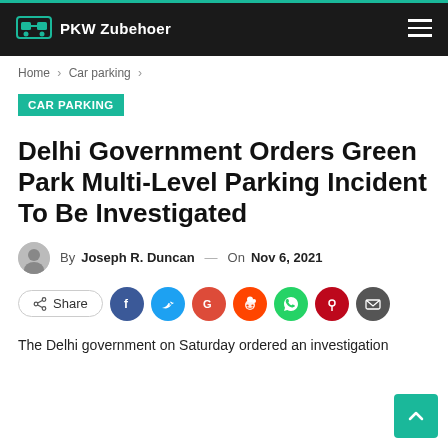PKW Zubehoer
Home > Car parking >
CAR PARKING
Delhi Government Orders Green Park Multi-Level Parking Incident To Be Investigated
By Joseph R. Duncan — On Nov 6, 2021
Share
The Delhi government on Saturday ordered an investigation